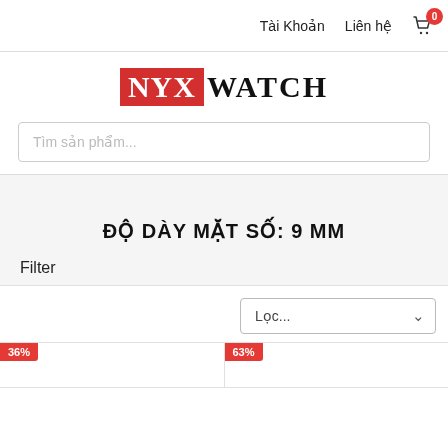Tài Khoản   Liên hệ   0
[Figure (logo): NYX WATCH logo with NYX in red background and WATCH in black serif font]
Tìm sản phẩm...
ĐỘ DÀY MẶT SỐ: 9 MM
Filter
Lọc...